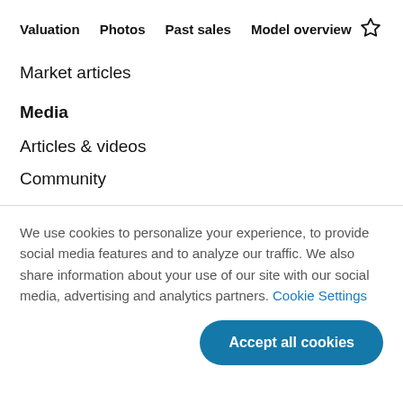Valuation  Photos  Past sales  Model overview
Market articles
Media
Articles & videos
Community
We use cookies to personalize your experience, to provide social media features and to analyze our traffic. We also share information about your use of our site with our social media, advertising and analytics partners. Cookie Settings
Accept all cookies